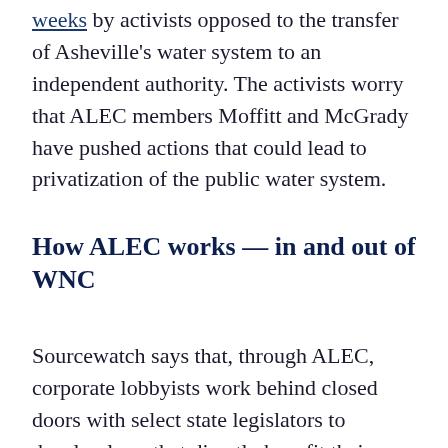weeks by activists opposed to the transfer of Asheville's water system to an independent authority. The activists worry that ALEC members Moffitt and McGrady have pushed actions that could lead to privatization of the public water system.
How ALEC works — in and out of WNC
Sourcewatch says that, through ALEC, corporate lobbyists work behind closed doors with select state legislators to develop laws that directly benefit their business' bottom line.